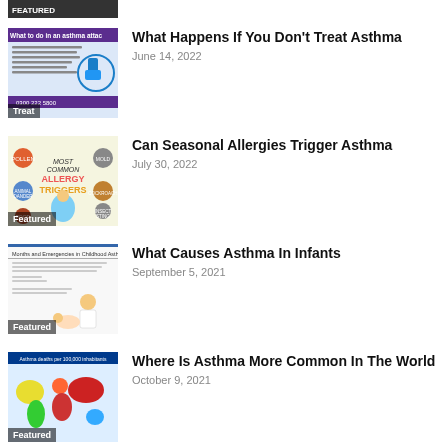[Figure (infographic): Partial thumbnail of an article image at top of page (cropped)]
[Figure (infographic): Thumbnail: What to do in an asthma attack infographic with blue inhaler image and phone number 0300 222 5800. Label: Treat]
What Happens If You Don't Treat Asthma
June 14, 2022
[Figure (infographic): Thumbnail: Most Common Allergy Triggers infographic with colorful icons. Label: Featured]
Can Seasonal Allergies Trigger Asthma
July 30, 2022
[Figure (infographic): Thumbnail: Months and Emergencies in Childhood Asthma document with illustration of child. Label: Featured]
What Causes Asthma In Infants
September 5, 2021
[Figure (map): Thumbnail: World map showing asthma deaths per 100,000 inhabitants with colored regions. Label: Featured]
Where Is Asthma More Common In The World
October 9, 2021